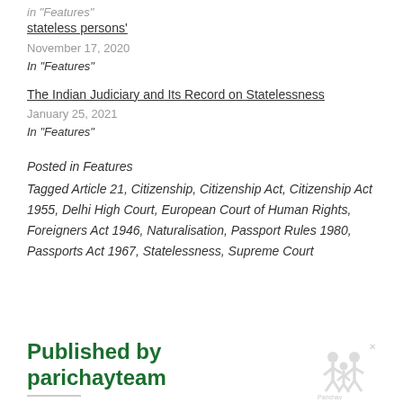in "Features"
stateless persons'
November 17, 2020
In "Features"
The Indian Judiciary and Its Record on Statelessness
January 25, 2021
In "Features"
Posted in Features
Tagged Article 21, Citizenship, Citizenship Act, Citizenship Act 1955, Delhi High Court, European Court of Human Rights, Foreigners Act 1946, Naturalisation, Passport Rules 1980, Passports Act 1967, Statelessness, Supreme Court
Published by parichayteam